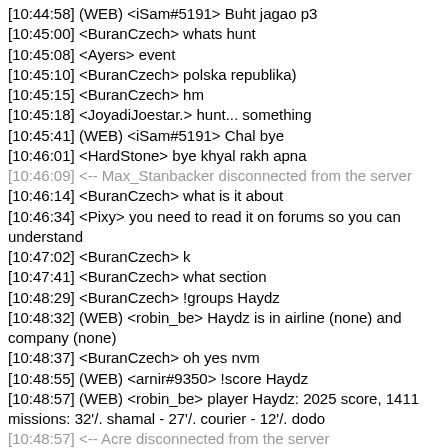[10:44:58] (WEB) <iSam#5191> Buht jagao p3
[10:45:00] <BuranCzech> whats hunt
[10:45:08] <Ayers> event
[10:45:10] <BuranCzech> polska republika)
[10:45:15] <BuranCzech> hm
[10:45:18] <JoyadiJoestar.> hunt... something
[10:45:41] (WEB) <iSam#5191> Chal bye
[10:46:01] <HardStone> bye khyal rakh apna
[10:46:09] <-- Max_Stanbacker disconnected from the server
[10:46:14] <BuranCzech> what is it about
[10:46:34] <Pixy> you need to read it on forums so you can understand
[10:47:02] <BuranCzech> k
[10:47:41] <BuranCzech> what section
[10:48:29] <BuranCzech> !groups Haydz
[10:48:32] (WEB) <robin_be> Haydz is in airline (none) and company (none)
[10:48:37] <BuranCzech> oh yes nvm
[10:48:55] (WEB) <arnir#9350> !score Haydz
[10:48:57] (WEB) <robin_be> player Haydz: 2025 score, 1411 missions: 32'/. shamal - 27'/. courier - 12'/. dodo
[10:48:57] <-- Acre disconnected from the server
[10:49:10] --> CRiZZ connected to the server
[10:49:12] <BuranCzech> !player Haydz
[10:49:15] (WEB) <robin_be> player Haydz: 2025 score, last seen